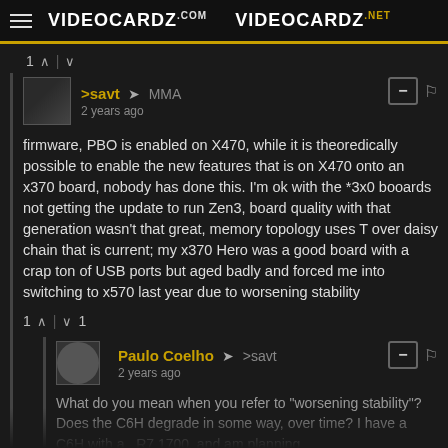VIDEOCARDZ.com   VIDEOCARDZ.net
1 ^ | v
>savt → MMA
2 years ago
firmware, PBO is enabled on X470, while it is theoredically possible to enable the new features that is on X470 onto an x370 board, nobody has done this. I'm ok with the *3x0 booards not getting the update to run Zen3, board quality with that generation wasn't that great, memory topology uses T over daisy chain that is current; my x370 Hero was a good board with a crap ton of USB ports but aged badly and forced me into switching to x570 last year due to worsening stability
1 ^ | v 1
Paulo Coelho → >savt
2 years ago
What do you mean when you refer to "worsening stability"? Does the C6H degrade in some way, over time? I have a C6H with a   R7 1700, and am planning